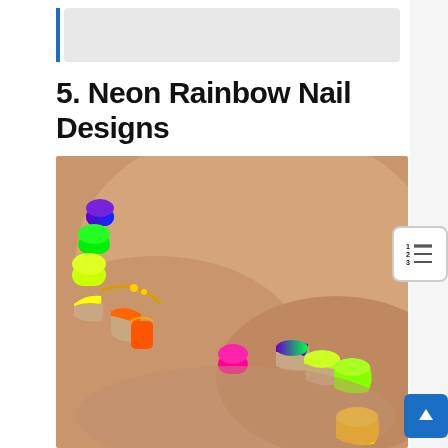5. Neon Rainbow Nail Designs
[Figure (photo): Close-up photograph of hands with neon rainbow nail designs. The nails feature bright neon colors including green, yellow, orange, pink, purple, and combinations thereof in gradient and French tip styles. One hand wears a gold chain bracelet/ring.]